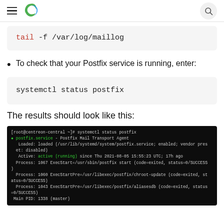[hamburger menu] [Centreon logo] [search button]
tail -f /var/log/maillog
To check that your Postfix service is running, enter:
systemctl status postfix
The results should look like this:
[Figure (screenshot): Terminal screenshot showing output of 'systemctl status postfix' command with postfix.service active (running) status, loaded path, active since Thu 2021-08-05 15:55:23 UTC; 17h ago, process info, and Main PID: 1338 (master)]